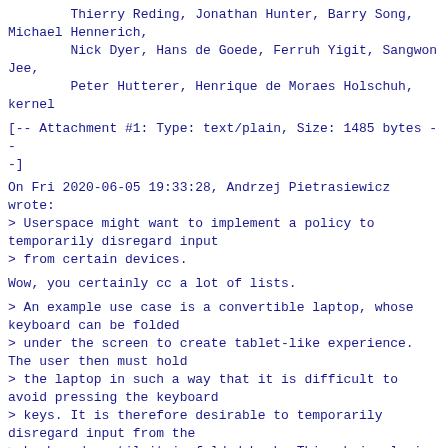Thierry Reding, Jonathan Hunter, Barry Song,
Michael Hennerich,
        Nick Dyer, Hans de Goede, Ferruh Yigit, Sangwon
Jee,
        Peter Hutterer, Henrique de Moraes Holschuh,
kernel
[-- Attachment #1: Type: text/plain, Size: 1485 bytes --]
On Fri 2020-06-05 19:33:28, Andrzej Pietrasiewicz
wrote:
> Userspace might want to implement a policy to
temporarily disregard input
> from certain devices.
Wow, you certainly cc a lot of lists.
> An example use case is a convertible laptop, whose
keyboard can be folded
> under the screen to create tablet-like experience.
The user then must hold
> the laptop in such a way that it is difficult to
avoid pressing the keyboard
> keys. It is therefore desirable to temporarily
disregard input from the
> keyboard, until it is folded back. This obviously is
a policy which should
> be kept out of the kernel, but the kernel must
provide suitable means to
> implement such a policy.